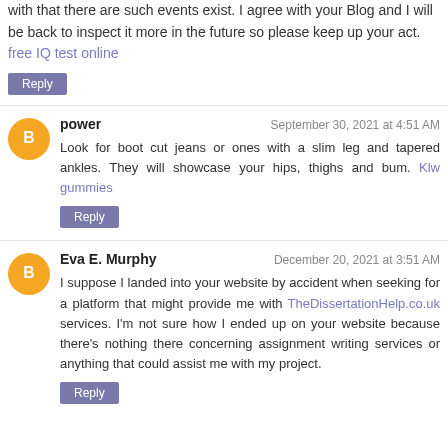with that there are such events exist. I agree with your Blog and I will be back to inspect it more in the future so please keep up your act. free IQ test online
Reply
power — September 30, 2021 at 4:51 AM
Look for boot cut jeans or ones with a slim leg and tapered ankles. They will showcase your hips, thighs and bum. Klw gummies
Reply
Eva E. Murphy — December 20, 2021 at 3:51 AM
I suppose I landed into your website by accident when seeking for a platform that might provide me with TheDissertationHelp.co.uk services. I'm not sure how I ended up on your website because there's nothing there concerning assignment writing services or anything that could assist me with my project.
Reply